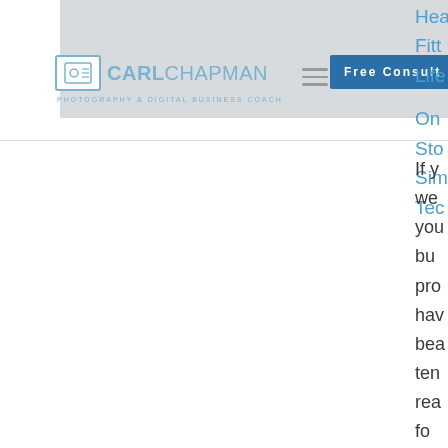[Figure (screenshot): Carl Chapman website screenshot showing header with logo, hamburger menu, Free Consult button, partial navigation links (Health, Fitness, Lifestyle, Online, Sto..., Sim..., Tec...), and partial body text beginning with 'If y... we... yo... bu... pro... hav... bea... ten... rea... fo...']
CARL CHAPMAN — Free Consult
Hea
Fitt
Life
On
Sto
Sim
Tec
If y we you bu pro hav bea ten rea fo